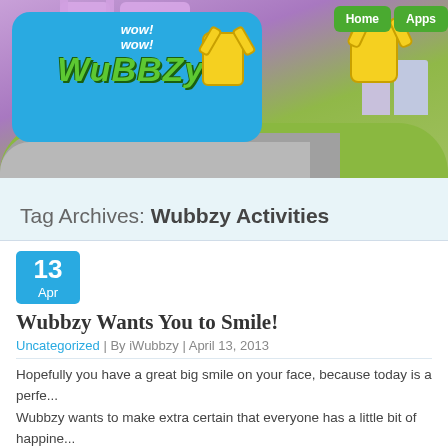[Figure (illustration): Wow Wow Wubbzy website banner with cartoon characters, logo on blue rounded rectangle, green grass, road, purple background with geometric shapes. Navigation buttons 'Home' and 'Apps' in green at top right.]
Tag Archives: Wubbzy Activities
Wubbzy Wants You to Smile!
Uncategorized | By iWubbzy | April 13, 2013
Hopefully you have a great big smile on your face, because today is a perfe... Wubbzy wants to make extra certain that everyone has a little bit of happine... While reminding yourself to be happy, why not also think about spreading ...